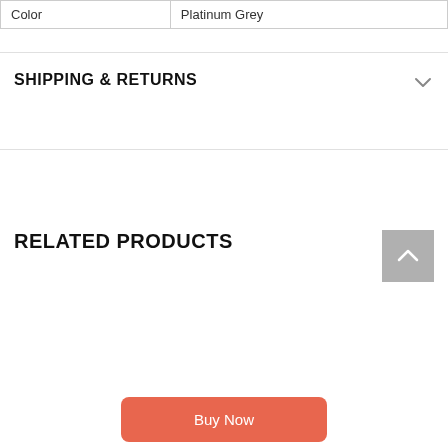| Color | Platinum Grey |
| --- | --- |
SHIPPING & RETURNS
RELATED PRODUCTS
[Figure (other): Product card with Sale badge, light grey background]
[Figure (other): Product card with Sale badge, light grey background]
Buy Now